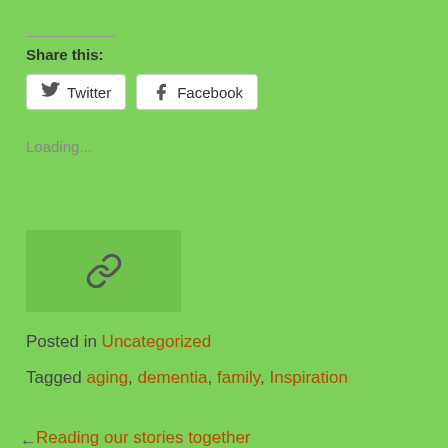Share this:
Twitter  Facebook
Loading...
[Figure (other): Link/chain icon inside a light green box]
Posted in Uncategorized
Tagged aging, dementia, family, Inspiration
Reading our stories together